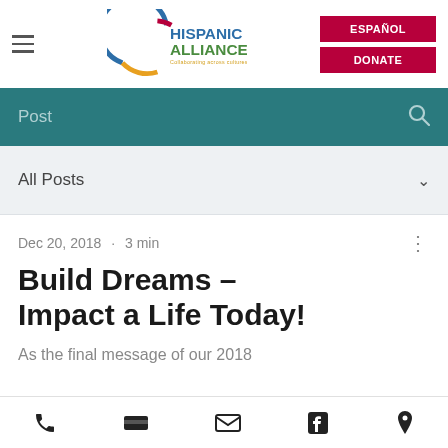[Figure (logo): Hispanic Alliance logo with colorful circular arc and text 'HISPANIC ALLIANCE - Collaborating across cultures']
ESPAÑOL  DONATE
Post
All Posts
Dec 20, 2018  •  3 min
Build Dreams – Impact a Life Today!
As the final message of our 2018
phone  wallet  email  facebook  location